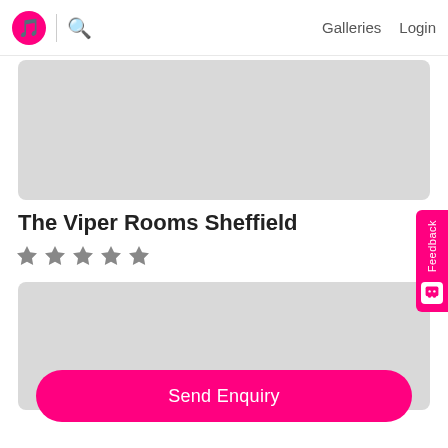Galleries  Login
[Figure (photo): Top image placeholder (gray rectangle) for venue listing]
The Viper Rooms Sheffield
★ ★ ★ ★ ★ (five star rating icons)
[Figure (photo): Bottom image placeholder (gray rectangle) for venue]
Send Enquiry